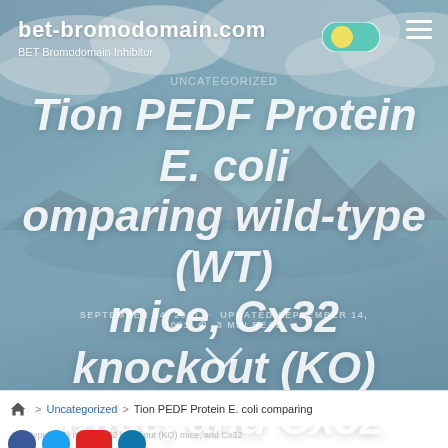bet-bromodomain.com — BET Bromodomain Inhibitor
Tion PEDF Protein E. coli comparing wild-type (WT) mice, Cx32 knockout (KO) mice, and Cx32
SEPTEMBER 14, 2021 · UPDATED SEPTEMBER 14, 2021 · 3 MIN READ
Uncategorized
> Uncategorized > Tion PEDF Protein E. coli comparing wild-type (WT) mice, Cx32 knockout (KO) mice, and Cx32